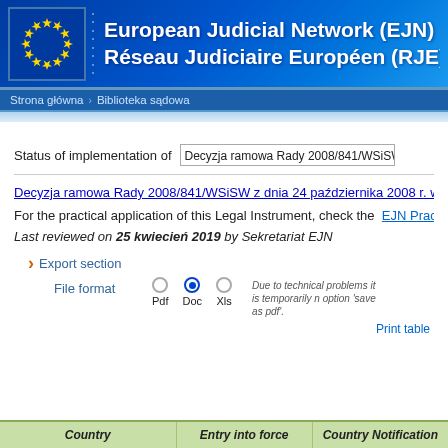European Judicial Network (EJN) Réseau Judiciaire Européen (RJE)
Strona główna > Biblioteka sądowa
Status of implementation of  Decyzja ramowa Rady 2008/841/WSiSW z dnia 24 p
Decyzja ramowa Rady 2008/841/WSiSW z dnia 24 października 2008 r. w sprawie
For the practical application of this Legal Instrument, check the  EJN Practical tools
Last reviewed on 25 kwiecień 2019 by Sekretariat EJN
Export section
File format  Pdf  Doc  Xls  Due to technical problems it is temporarily n option 'save as pdf'.
Print table
| Country | Entry into force | Country Notification |
| --- | --- | --- |